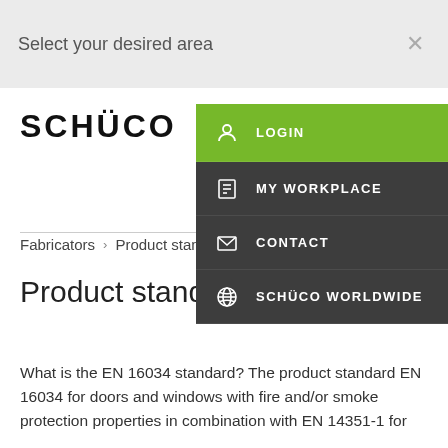Select your desired area
[Figure (logo): Schüco logo in bold black uppercase text]
Fabricators > Product standar...
[Figure (screenshot): Dropdown navigation menu with green LOGIN button and dark items: MY WORKPLACE, CONTACT, SCHÜCO WORLDWIDE]
Product standard EN 16034
What is the EN 16034 standard? The product standard EN 16034 for doors and windows with fire and/or smoke protection properties in combination with EN 14351-1 for